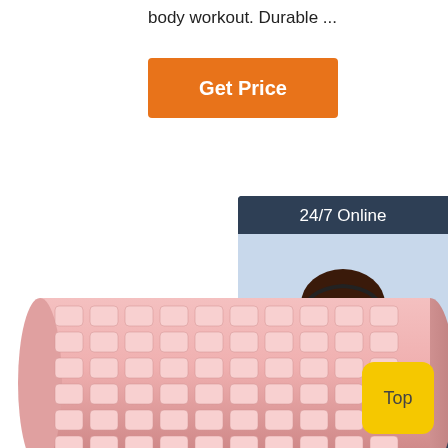body workout. Durable ...
Get Price
[Figure (photo): Customer service representative with headset, smiling, with '24/7 Online' header, 'Click here for free chat!' text, and orange QUOTATION button on dark blue panel]
[Figure (photo): Pink foam massage roller with textured surface, positioned diagonally]
Top